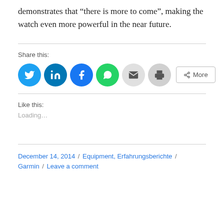demonstrates that “there is more to come”, making the watch even more powerful in the near future.
Share this:
[Figure (other): Social share buttons: Twitter, LinkedIn, Facebook, WhatsApp, Email, Print, and More]
Like this:
Loading...
December 14, 2014 / Equipment, Erfahrungsberichte / Garmin / Leave a comment